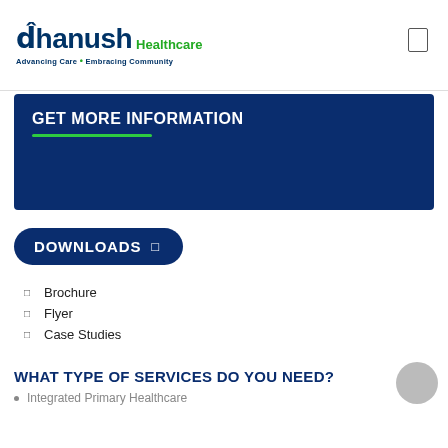dhanush Healthcare — Advancing Care • Embracing Community
GET MORE INFORMATION
DOWNLOADS
Brochure
Flyer
Case Studies
WHAT TYPE OF SERVICES DO YOU NEED?
Integrated Primary Healthcare